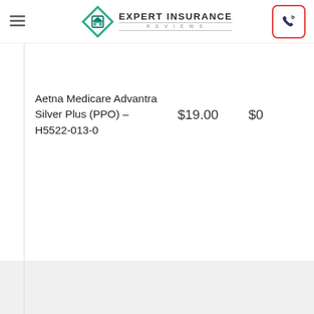Expert Insurance Reviews
Aetna Medicare Advantra Silver Plus (PPO) – H5522-013-0	$19.00	$0